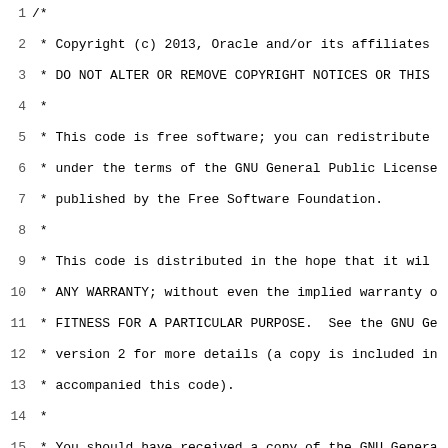Source code file with copyright header and package declaration for jdk.vm.ci.options, showing StableOptionValue class definition